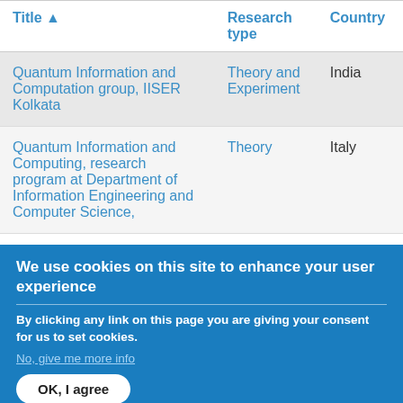| Title ▲ | Research type | Country |
| --- | --- | --- |
| Quantum Information and Computation group, IISER Kolkata | Theory and Experiment | India |
| Quantum Information and Computing, research program at Department of Information Engineering and Computer Science, | Theory | Italy |
We use cookies on this site to enhance your user experience
By clicking any link on this page you are giving your consent for us to set cookies.
No, give me more info
OK, I agree